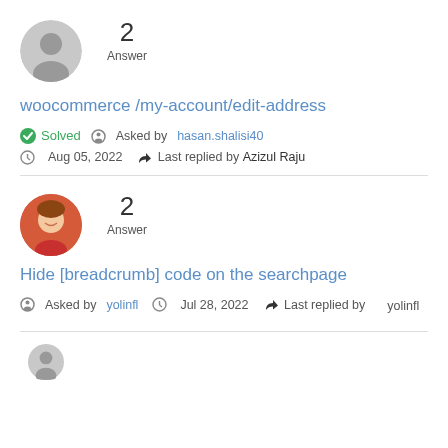[Figure (illustration): Gray circular placeholder avatar icon]
2
Answer
woocommerce /my-account/edit-address
Solved   Asked by hasan.shalisi40
Aug 05, 2022   Last replied by Azizul Raju
[Figure (photo): Circular avatar photo of a smiling woman with red top and colorful background]
2
Answer
Hide [breadcrumb] code on the searchpage
Asked by yolinfl   Jul 28, 2022   Last replied by yolinfl
[Figure (illustration): Gray circular placeholder avatar icon at bottom]